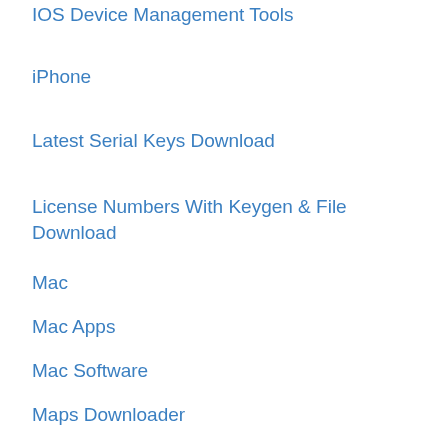IOS Device Management Tools
iPhone
Latest Serial Keys Download
License Numbers With Keygen & File Download
Mac
Mac Apps
Mac Software
Maps Downloader
Media
Messenger
Microsoft Office
Microsoft Toolkit
MP3 & Audio